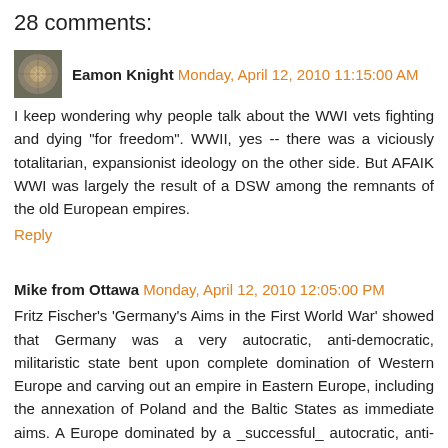28 comments:
[Figure (photo): Avatar thumbnail of Eamon Knight - circular/fossil-like image]
Eamon Knight Monday, April 12, 2010 11:15:00 AM
I keep wondering why people talk about the WWI vets fighting and dying "for freedom". WWII, yes -- there was a viciously totalitarian, expansionist ideology on the other side. But AFAIK WWI was largely the result of a DSW among the remnants of the old European empires.
Reply
Mike from Ottawa Monday, April 12, 2010 12:05:00 PM
Fritz Fischer's 'Germany's Aims in the First World War' showed that Germany was a very autocratic, anti-democratic, militaristic state bent upon complete domination of Western Europe and carving out an empire in Eastern Europe, including the annexation of Poland and the Baltic States as immediate aims. A Europe dominated by a _successful_ autocratic, anti-democratic, militaristic Germany would indeed have been a serious blow against